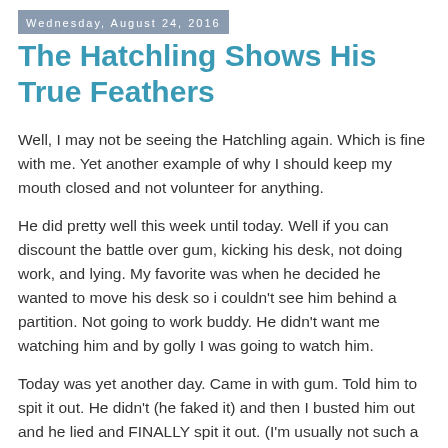Wednesday, August 24, 2016
The Hatchling Shows His True Feathers
Well, I may not be seeing the Hatchling again.  Which is fine with me.  Yet another example of why I should keep my mouth closed and not volunteer for anything.
He did pretty well this week until today.  Well if you can discount the battle over gum, kicking his desk, not doing work, and lying.  My favorite was when he decided he wanted to move his desk so i couldn't see him behind a partition.  Not going to work buddy. He didn't want me watching him and by golly I was going to watch him.
Today was yet another day.  Came in with gum.  Told him to spit it out.  He didn't (he faked it) and then I busted him out and he lied and FINALLY spit it out.  (I'm usually not such a gum freak but it was a wad that made him look like he had chewing tobacco in and he snapped it which is aggravating.  And I have carpet.)  Said he didn't have any work.  Had him